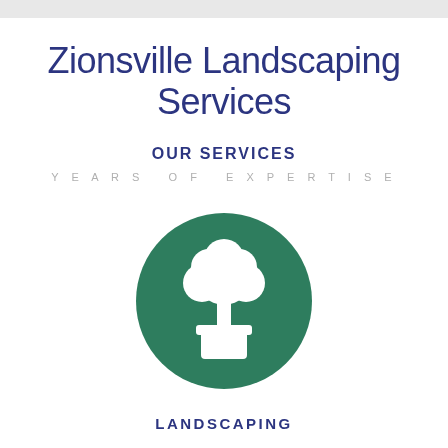Zionsville Landscaping Services
OUR SERVICES
YEARS OF EXPERTISE
[Figure (illustration): Green circle icon containing a white potted tree/topiary illustration]
LANDSCAPING